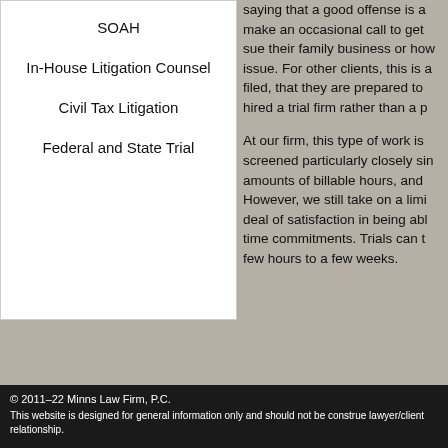SOAH
In-House Litigation Counsel
Civil Tax Litigation
Federal and State Trial
saying that a good offense is a make an occasional call to get sue their family business or how issue. For other clients, this is a filed, that they are prepared to hired a trial firm rather than a p
At our firm, this type of work is screened particularly closely since amounts of billable hours, and However, we still take on a limit deal of satisfaction in being able time commitments. Trials can t few hours to a few weeks.
© 2011–22 Minns Law Firm, P.C.

This website is designed for general information only and should not be construe lawyer/client relationship.